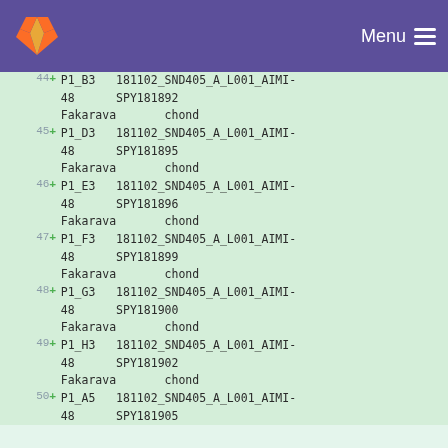Menu
44 + P1_B3  181102_SND405_A_L001_AIMI-48  SPY181892  Fakarava  chond
45 + P1_D3  181102_SND405_A_L001_AIMI-48  SPY181895  Fakarava  chond
46 + P1_E3  181102_SND405_A_L001_AIMI-48  SPY181896  Fakarava  chond
47 + P1_F3  181102_SND405_A_L001_AIMI-48  SPY181899  Fakarava  chond
48 + P1_G3  181102_SND405_A_L001_AIMI-48  SPY181900  Fakarava  chond
49 + P1_H3  181102_SND405_A_L001_AIMI-48  SPY181902  Fakarava  chond
50 + P1_A5  181102_SND405_A_L001_AIMI-48  SPY181905